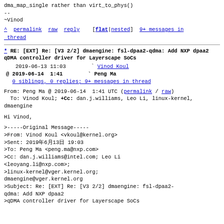dma_map_single rather than virt_to_phys()
--
~Vinod
^ permalink raw reply [flat|nested] 9+ messages in thread
* RE: [EXT] Re: [V3 2/2] dmaengine: fsl-dpaa2-qdma: Add NXP dpaa2 qDMA controller driver for Layerscape SoCs
2019-06-13 11:03  ` Vinod Koul
@ 2019-06-14  1:41  ` Peng Ma
0 siblings, 0 replies; 9+ messages in thread
From: Peng Ma @ 2019-06-14  1:41 UTC (permalink / raw)
  To: Vinod Koul; +Cc: dan.j.williams, Leo Li, linux-kernel, dmaengine
Hi Vinod,
>-----Original Message-----
>From: Vinod Koul <vkoul@kernel.org>
>Sent: 2019年6月13日 19:03
>To: Peng Ma <peng.ma@nxp.com>
>Cc: dan.j.williams@intel.com; Leo Li <leoyang.li@nxp.com>;
>linux-kernel@vger.kernel.org;
dmaengine@vger.kernel.org
>Subject: Re: [EXT] Re: [V3 2/2] dmaengine: fsl-dpaa2-qdma: Add NXP dpaa2
qdma: Add NXP dpaa2
>qDMA controller driver for Layerscape SoCs